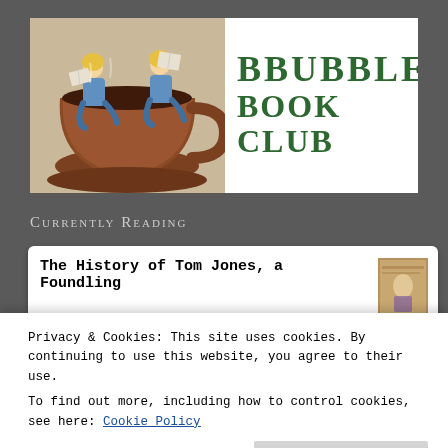[Figure (logo): BBubble Book Club logo: illustration of two women reading books while sitting in a large teacup, next to bold green text reading BBUBBLE BOOK CLUB]
Currently Reading
The History of Tom Jones, a Foundling
Privacy & Cookies: This site uses cookies. By continuing to use this website, you agree to their use.
To find out more, including how to control cookies, see here: Cookie Policy
Close and accept
Sapiens: A Brief History of Humankind